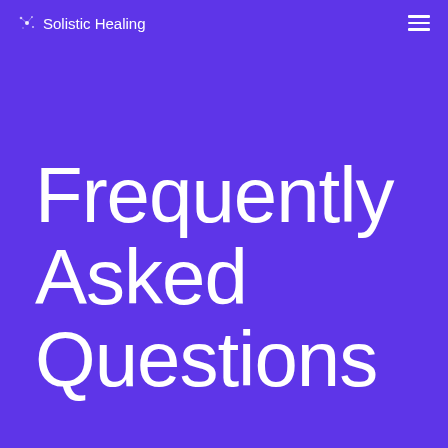✦ Solistic Healing
Frequently Asked Questions